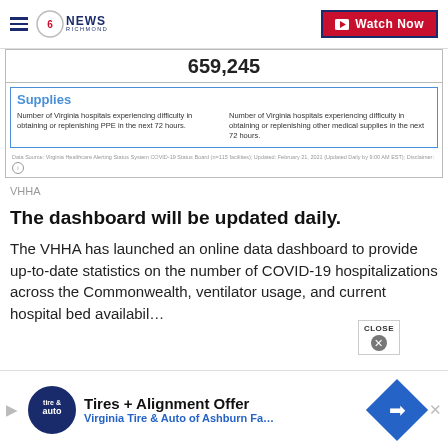CBS 6 NEWS RICHMOND — Watch Now
[Figure (screenshot): Dashboard showing 659,245 stat row, Supplies section with two cells about Virginia hospitals experiencing difficulty obtaining/replenishing PPE and other medical supplies in the next 72 hours. Data source footnote referencing Virginia Healthcare Alerting Status System COVID-19 Status Board, Updated February 21, 2021.]
VHHA
The dashboard will be updated daily.
The VHHA has launched an online data dashboard to provide up-to-date statistics on the number of COVID-19 hospitalizations across the Commonwealth, ventilator usage, and current hospital bed availabil…
[Figure (other): Advertisement banner: Tires + Alignment Offer — Virginia Tire & Auto of Ashburn Fa...]